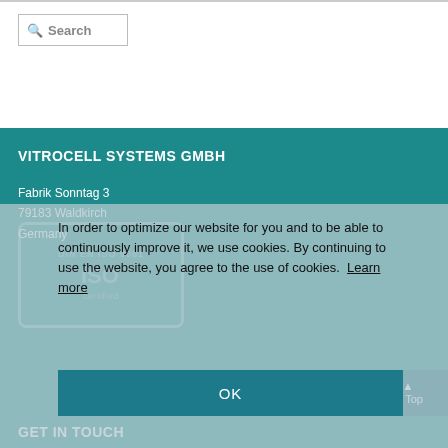Search
VITROCELL SYSTEMS GMBH
Fabrik Sonntag 3
79183 Waldkirch
Germany
[Figure (other): DIN EN ISO 9001 certification stamp watermark in white on teal background]
In order to optimize our website for you and to be able to continuously improve it, we use cookies. By continuing to use the website, you agree to the use of cookies.  Learn more
OK
to Top
GET IN TOUCH